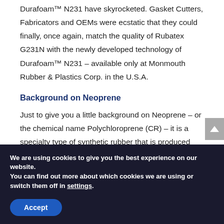Durafoam™ N231 have skyrocketed. Gasket Cutters, Fabricators and OEMs were ecstatic that they could finally, once again, match the quality of Rubatex G231N with the newly developed technology of Durafoam™ N231 – available only at Monmouth Rubber & Plastics Corp. in the U.S.A.
Background on Neoprene
Just to give you a little background on Neoprene – or the chemical name Polychloroprene (CR) – it is a specialty type of synthetic rubber that is produced
We are using cookies to give you the best experience on our website.
You can find out more about which cookies we are using or switch them off in settings.
Accept